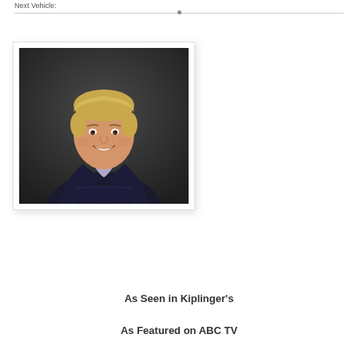Next Vehicle:
[Figure (photo): Professional headshot of a smiling middle-aged man with blonde hair, wearing a dark navy blazer and light purple shirt, arms folded, against a dark grey studio background.]
As Seen in Kiplinger's
As Featured on ABC TV